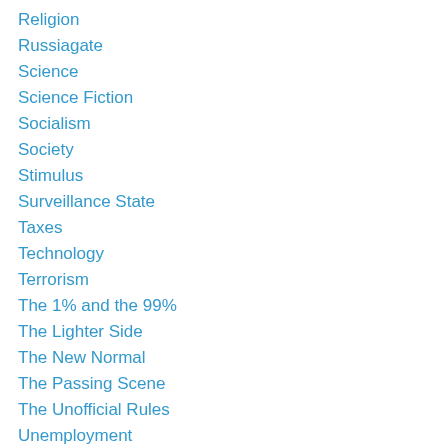Religion
Russiagate
Science
Science Fiction
Socialism
Society
Stimulus
Surveillance State
Taxes
Technology
Terrorism
The 1% and the 99%
The Lighter Side
The New Normal
The Passing Scene
The Unofficial Rules
Unemployment
Unitarian Universalism
Upstate New York
War and Peace